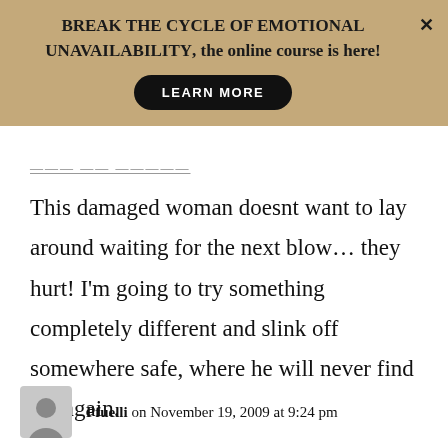BREAK THE CYCLE OF EMOTIONAL UNAVAILABILITY, the online course is here! LEARN MORE
This damaged woman doesnt want to lay around waiting for the next blow... they hurt! I'm going to try something completely different and slink off somewhere safe, where he will never find me again.
Pfuelli on November 19, 2009 at 9:24 pm